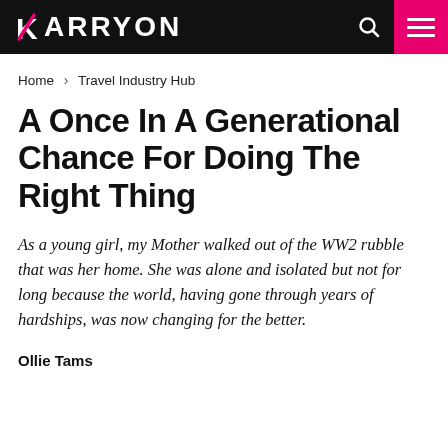KARRYON
Home > Travel Industry Hub
A Once In A Generational Chance For Doing The Right Thing
As a young girl, my Mother walked out of the WW2 rubble that was her home. She was alone and isolated but not for long because the world, having gone through years of hardships, was now changing for the better.
Ollie Tams